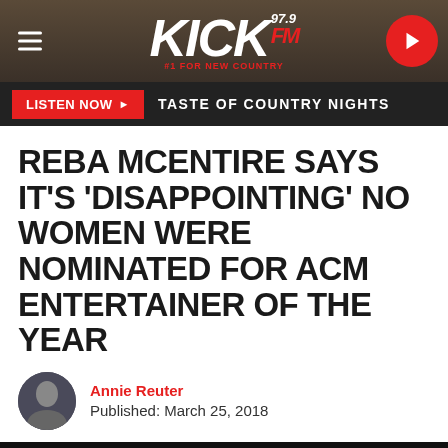[Figure (logo): KICK 97.9 FM radio station header with hamburger menu, logo, and play button]
LISTEN NOW ▶  TASTE OF COUNTRY NIGHTS
REBA MCENTIRE SAYS IT'S 'DISAPPOINTING' NO WOMEN WERE NOMINATED FOR ACM ENTERTAINER OF THE YEAR
Annie Reuter
Published: March 25, 2018